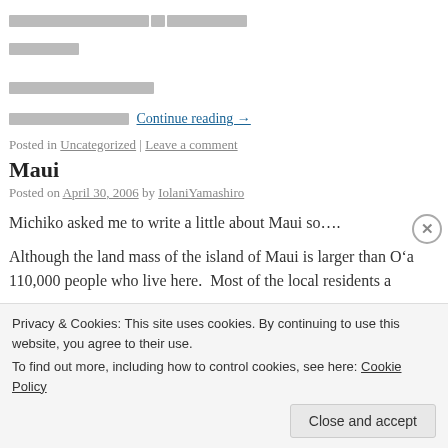□□□□□□□□□□□6□□□□□□□□□□ □□□□□□□□
□□□□□□□□□□□□□□□□
□□□□□□□□□□□□□□□□ Continue reading →
Posted in Uncategorized | Leave a comment
Maui
Posted on April 30, 2006 by IolaniYamashiro
Michiko asked me to write a little about Maui so….
Although the land mass of the island of Maui is larger than O'a 110,000 people who live here. Most of the local residents a
Privacy & Cookies: This site uses cookies. By continuing to use this website, you agree to their use.
To find out more, including how to control cookies, see here: Cookie Policy
Close and accept